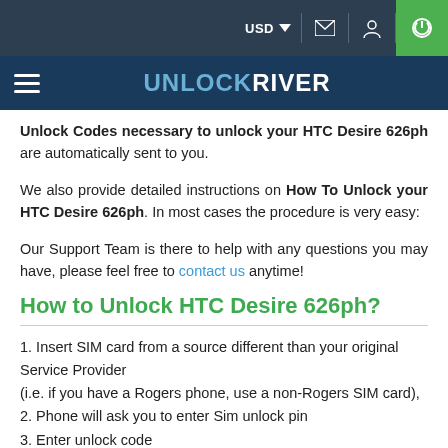USD  [mail icon] [location icon] [power icon]
UNLOCKRIVER
Unlock Codes necessary to unlock your HTC Desire 626ph are automatically sent to you.
We also provide detailed instructions on How To Unlock your HTC Desire 626ph. In most cases the procedure is very easy:
Our Support Team is there to help with any questions you may have, please feel free to contact us anytime!
How to Unlock HTC Desire 626ph?
1. Insert SIM card from a source different than your original Service Provider
(i.e. if you have a Rogers phone, use a non-Rogers SIM card),
2. Phone will ask you to enter Sim unlock pin
3. Enter unlock code